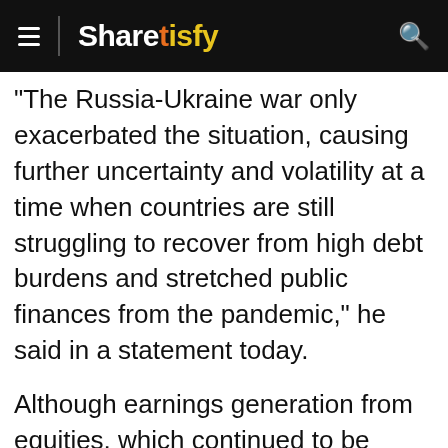Sharetisfy
"The Russia-Ukraine war only exacerbated the situation, causing further uncertainty and volatility at a time when countries are still struggling to recover from high debt burdens and stretched public finances from the pandemic," he said in a statement today.
Although earnings generation from equities, which continued to be EPF's main income contributor, was impacted by the market slowdown, Amir Hamzah said the EPF